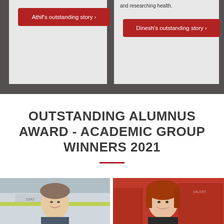[Figure (screenshot): Two story card buttons on dark gray background: left card with red button 'Athif's outstanding story >', right card with text 'and researching health.' and red button 'Dinesh's outstanding story >']
OUTSTANDING ALUMNUS AWARD - ACADEMIC GROUP WINNERS 2021
[Figure (photo): Two side-by-side photos: left shows a man in uniform smiling next to an ambulance (number 3341), right shows a woman with red hair smiling in front of red fire trucks/emergency vehicles]